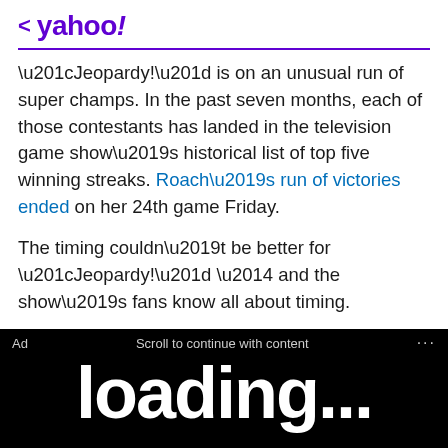< yahoo!
“Jeopardy!” is on an unusual run of super champs. In the past seven months, each of those contestants has landed in the television game show’s historical list of top five winning streaks. Roach’s run of victories ended on her 24th game Friday.
The timing couldn’t be better for “Jeopardy!” — and the show’s fans know all about timing.
[Figure (screenshot): Ad overlay on black background with large white text partially visible and 'Get started' button text at bottom. Ad bar shows 'Ad', 'Scroll to continue with content', and '...']